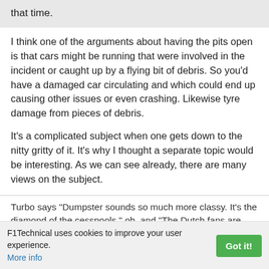that time.
I think one of the arguments about having the pits open is that cars might be running that were involved in the incident or caught up by a flying bit of debris. So you'd have a damaged car circulating and which could end up causing other issues or even crashing. Likewise tyre damage from pieces of debris.
It's a complicated subject when one gets down to the nitty gritty of it. It's why I thought a separate topic would be interesting. As we can see already, there are many views on the subject.
Turbo says "Dumpster sounds so much more classy. It's the diamond of the cesspools." oh, and "The Dutch fans are drunk. Maybe"
F1Technical uses cookies to improve your user experience. More info